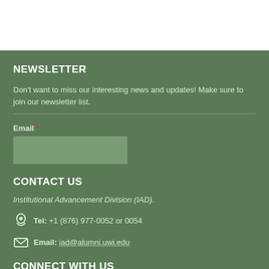NEWSLETTER
Don't want to miss our interesting news and updates! Make sure to join our newsletter list.
Email *
CONTACT US
Institutional Advancement Division (IAD).
Tel: +1 (876) 977-0052 or 0054
Email: iad@alumni.uwi.edu
CONNECT WITH US